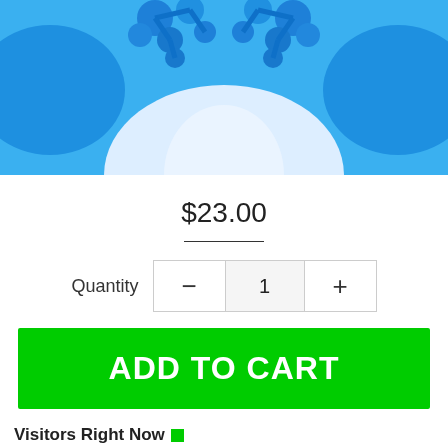[Figure (photo): Product image showing blue 3D molecular/capsule shapes on a white background, cropped at top]
$23.00
Quantity — 1 +
ADD TO CART
Visitors Right Now
Hurry! Only 16 left in stock.